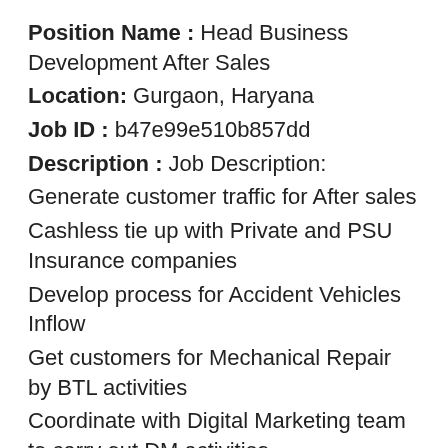Position Name : Head Business Development After Sales
Location: Gurgaon, Haryana
Job ID : b47e99e510b857dd
Description : Job Description:
Generate customer traffic for After sales
Cashless tie up with Private and PSU Insurance companies
Develop process for Accident Vehicles Inflow
Get customers for Mechanical Repair by BTL activities
Coordinate with Digital Marketing team to carry out DM activities
Experience Range:
15 – 20 years
Educational Qualifications:
Any graduation